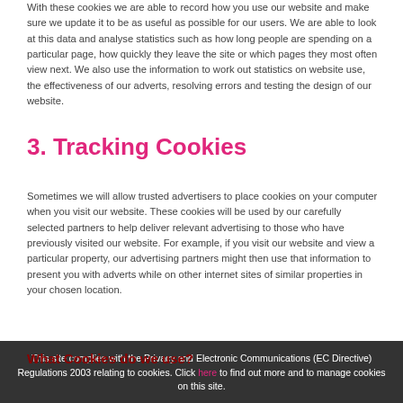With these cookies we are able to record how you use our website and make sure we update it to be as possible for our users. We are able to look at this data and analyse statistics such as how long people are spending on a particular page, how quickly they leave the site or which pages they most often view next. We also use the information to work out statistics on website use, the effectiveness of our adverts, resolving errors and testing the design of our website.
3. Tracking Cookies
Sometimes we will allow trusted advertisers to place cookies on your computer when you visit our website. These cookies will be used by our carefully selected partners to help deliver relevant advertising to those who have previously visited our website. For example, if you visit our website and view a particular property, our advertising partners might then use that information to present you with adverts while on other internet sites of similar properties in your chosen location.
This site complies with the Privacy and Electronic Communications (EC Directive) Regulations 2003 relating to cookies. Click here to find out more and to manage cookies on this site.
What Cookies do we use?